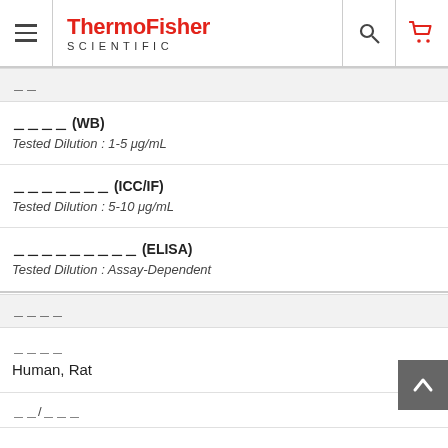ThermoFisher SCIENTIFIC
🔲🔲
🔲🔲🔲🔲 (WB)
Tested Dilution : 1-5 μg/mL
🔲🔲🔲🔲🔲🔲🔲 (ICC/IF)
Tested Dilution : 5-10 μg/mL
🔲🔲🔲🔲🔲🔲🔲🔲🔲 (ELISA)
Tested Dilution : Assay-Dependent
🔲🔲🔲🔲
🔲🔲🔲🔲
Human, Rat
🔲🔲/🔲🔲🔲